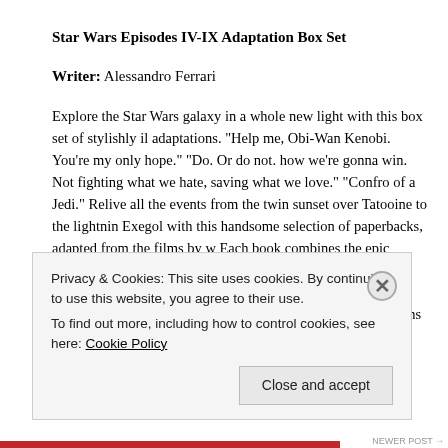Star Wars Episodes IV-IX Adaptation Box Set
Writer: Alessandro Ferrari
Explore the Star Wars galaxy in a whole new light with this box set of stylishly illustrated adaptations. “Help me, Obi-Wan Kenobi. You’re my only hope.” “Do. Or do not. how we’re gonna win. Not fighting what we hate, saving what we love.” “Confro of a Jedi.” Relive all the events from the twin sunset over Tatooine to the lightnin Exegol with this handsome selection of paperbacks, adapted from the films by w Each book combines the epic wonder of a galaxy far, far away with streamlined, designs, making this a visual treat for longtime fans and a great introduction for n box set collects the graphic novel adaptations of A New Hope, The Empire Strike Jedi, The Force Awakens, The Last Jedi, and The Rise of Skywalker.
Details: $59.99
Privacy & Cookies: This site uses cookies. By continuing to use this website, you agree to their use.
To find out more, including how to control cookies, see here: Cookie Policy
Close and accept